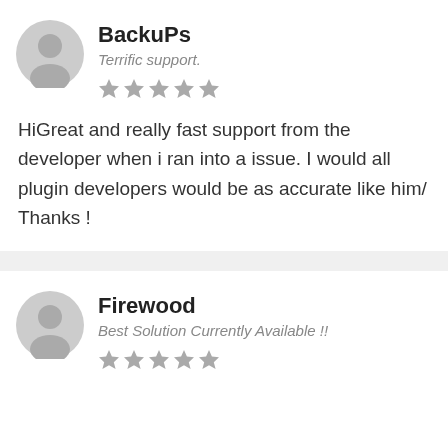BackuPs
Terrific support.
[Figure (other): Five grey stars rating]
HiGreat and really fast support from the developer when i ran into a issue. I would all plugin developers would be as accurate like him/ Thanks !
Firewood
Best Solution Currently Available !!
[Figure (other): Five grey stars rating]